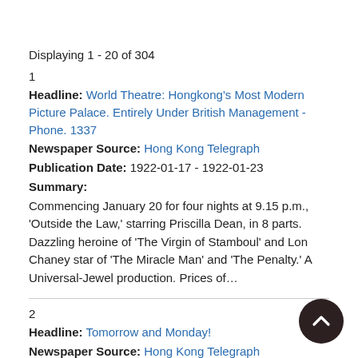Displaying 1 - 20 of 304
1
Headline: World Theatre: Hongkong's Most Modern Picture Palace. Entirely Under British Management - Phone. 1337
Newspaper Source: Hong Kong Telegraph
Publication Date: 1922-01-17 - 1922-01-23
Summary:
Commencing January 20 for four nights at 9.15 p.m., 'Outside the Law,' starring Priscilla Dean, in 8 parts. Dazzling heroine of 'The Virgin of Stamboul' and Lon Chaney star of 'The Miracle Man' and 'The Penalty.' A Universal-Jewel production. Prices of…
2
Headline: Tomorrow and Monday!
Newspaper Source: Hong Kong Telegraph
Publication Date: 1922-04-15 - 1922-04-15
Summary: